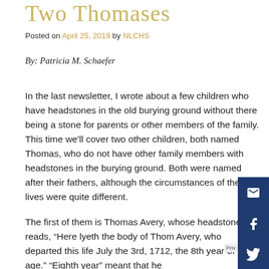Two Thomases
Posted on April 25, 2019 by NLCHS
By: Patricia M. Schaefer
In the last newsletter, I wrote about a few children who have headstones in the old burying ground without there being a stone for parents or other members of the family. This time we'll cover two other children, both named Thomas, who do not have other family members with headstones in the burying ground. Both were named after their fathers, although the circumstances of their lives were quite different.
The first of them is Thomas Avery, whose headstone reads, “Here lyeth the body of Thom Avery, who departed this life July the 3rd, 1712, the 8th year of his age.” “Eighth year” meant that he